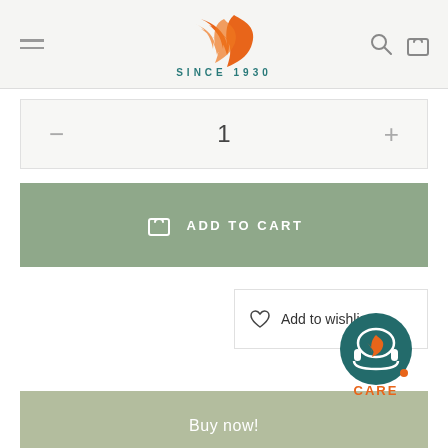[Figure (logo): Orange flame/feather logo with 'SINCE 1930' text below, navigation menu icon on left, search and cart icons on right]
1
ADD TO CART
Add to wishlist
[Figure (logo): Customer care badge with headset icon and orange 'CARE' text]
Buy now!
AVERAGE STORE RATING